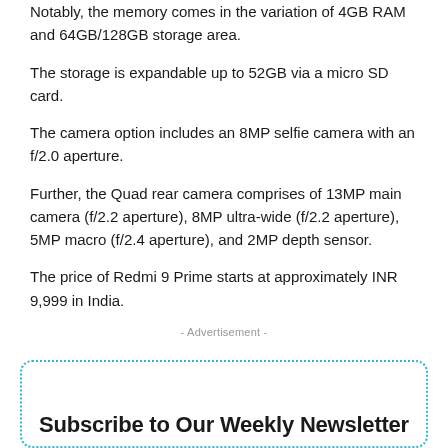Notably, the memory comes in the variation of 4GB RAM and 64GB/128GB storage area.
The storage is expandable up to 52GB via a micro SD card.
The camera option includes an 8MP selfie camera with an f/2.0 aperture.
Further, the Quad rear camera comprises of 13MP main camera (f/2.2 aperture), 8MP ultra-wide (f/2.2 aperture), 5MP macro (f/2.4 aperture), and 2MP depth sensor.
The price of Redmi 9 Prime starts at approximately INR 9,999 in India.
- Advertisement -
Subscribe to Our Weekly Newsletter